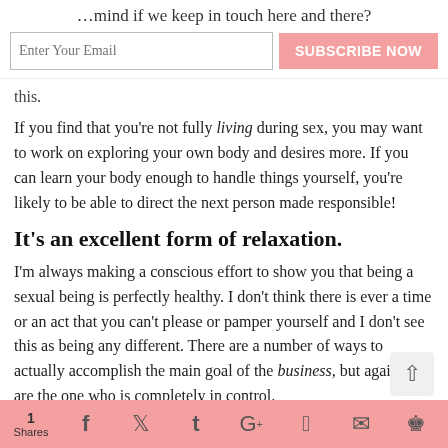…mind if we keep in touch here and there?
this.
If you find that you're not fully living during sex, you may want to work on exploring your own body and desires more. If you can learn your body enough to handle things yourself, you're likely to be able to direct the next person made responsible!
It's an excellent form of relaxation.
I'm always making a conscious effort to show you that being a sexual being is perfectly healthy. I don't think there is ever a time or an act that you can't please or pamper yourself and I don't see this as being any different. There are a number of ways to actually accomplish the main goal of the business, but again you are the one who is completely in control.
You get to choose the music.
Pick the place. Choose the guy. Explore the fantasy. Set
1 Shares  f  t  G+ 1  p  [email]  [crown]